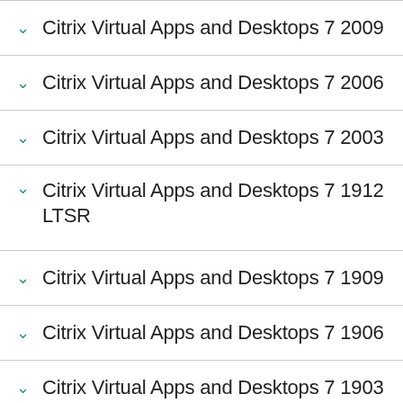Citrix Virtual Apps and Desktops 7 2009
Citrix Virtual Apps and Desktops 7 2006
Citrix Virtual Apps and Desktops 7 2003
Citrix Virtual Apps and Desktops 7 1912 LTSR
Citrix Virtual Apps and Desktops 7 1909
Citrix Virtual Apps and Desktops 7 1906
Citrix Virtual Apps and Desktops 7 1903
Citrix Virtual Apps and Desktops 7 1811 (partial, cut off)